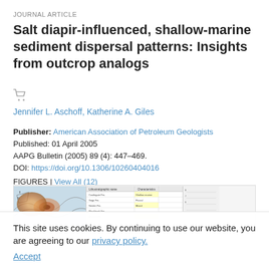JOURNAL ARTICLE
Salt diapir-influenced, shallow-marine sediment dispersal patterns: Insights from outcrop analogs
Jennifer L. Aschoff, Katherine A. Giles
Publisher: American Association of Petroleum Geologists
Published: 01 April 2005
AAPG Bulletin (2005) 89 (4): 447–469.
DOI: https://doi.org/10.1306/10260404016
FIGURES | View All (12)
[Figure (screenshot): Thumbnail strip showing partial figures from the article: a geological map with colorful contours and a stratigraphic table]
This site uses cookies. By continuing to use our website, you are agreeing to our privacy policy. Accept